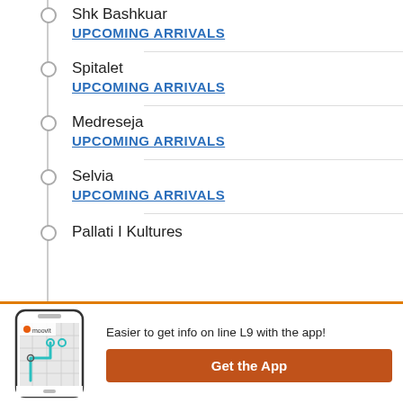Shk Bashkuar
UPCOMING ARRIVALS
Spitalet
UPCOMING ARRIVALS
Medreseja
UPCOMING ARRIVALS
Selvia
UPCOMING ARRIVALS
Pallati I Kultures
[Figure (screenshot): Moovit app banner with phone mockup showing map, text 'Easier to get info on line L9 with the app!' and orange 'Get the App' button]